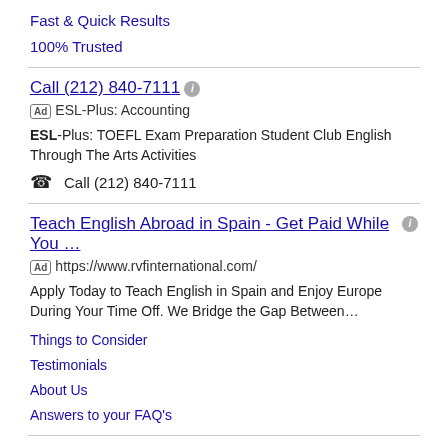Fast & Quick Results
100% Trusted
Call (212) 840-7111
Ad ESL-Plus: Accounting
ESL-Plus: TOEFL Exam Preparation Student Club English Through The Arts Activities
📞 Call (212) 840-7111
Teach English Abroad in Spain - Get Paid While You …
Ad https://www.rvfinternational.com/
Apply Today to Teach English in Spain and Enjoy Europe During Your Time Off. We Bridge the Gap Between…
Things to Consider
Testimonials
About Us
Answers to your FAQ's
ESL Teacher